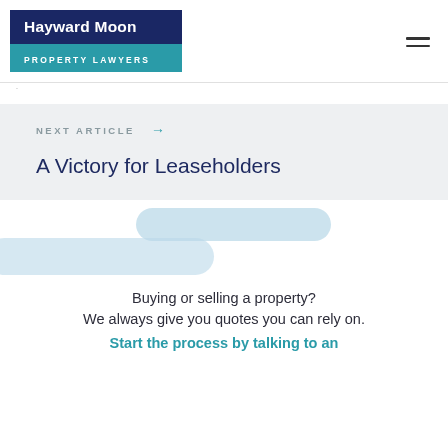[Figure (logo): Hayward Moon Property Lawyers logo — dark navy rectangle with white bold text 'Hayward Moon' and teal rectangle below with white text 'PROPERTY LAWYERS']
NEXT ARTICLE →
A Victory for Leaseholders
[Figure (illustration): Two overlapping rounded rectangular blobs in light blue, decorative background element]
Buying or selling a property?
We always give you quotes you can rely on.
Start the process by talking to an expert